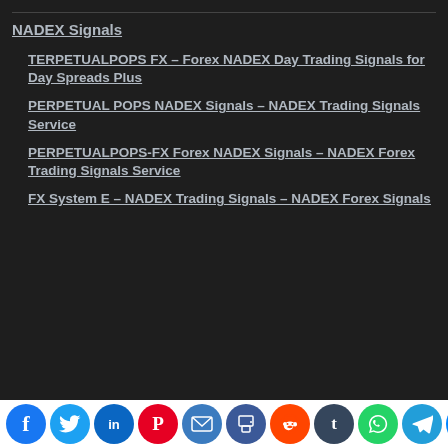NADEX Signals
TERPETUALPOPS FX – Forex NADEX Day Trading Signals for Day Spreads Plus
PERPETUAL POPS NADEX Signals – NADEX Trading Signals Service
PERPETUALPOPS-FX Forex NADEX Signals – NADEX Forex Trading Signals Service
FX System E – NADEX Trading Signals – NADEX Forex Signals
Social share bar: Facebook, Twitter, LinkedIn, Pinterest, Email, Print, Reddit, Tumblr, WhatsApp, Telegram, Messenger, More